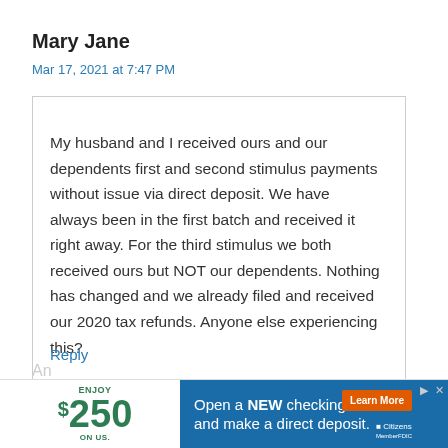Mary Jane
Mar 17, 2021 at 7:47 PM
My husband and I received ours and our dependents first and second stimulus payments without issue via direct deposit. We have always been in the first batch and received it right away. For the third stimulus we both received ours but NOT our dependents. Nothing has changed and we already filed and received our 2020 tax refunds. Anyone else experiencing this?
Reply